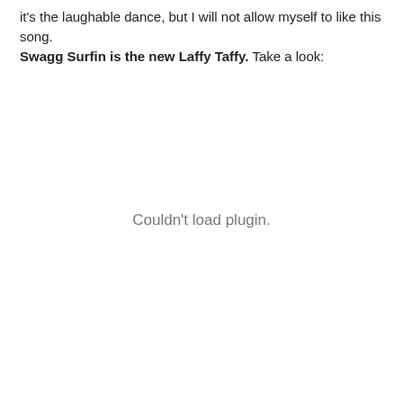it's the laughable dance, but I will not allow myself to like this song. Swagg Surfin is the new Laffy Taffy. Take a look:
[Figure (other): Embedded media plugin area showing 'Couldn't load plugin.' message]